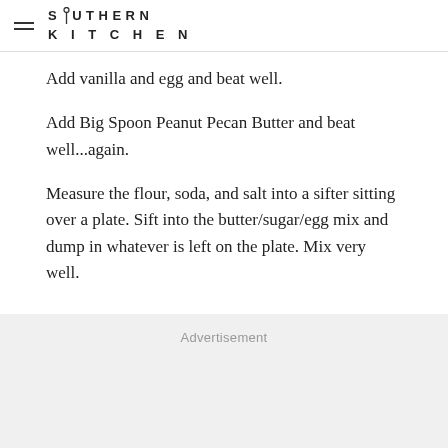SOUTHERN KITCHEN
Add vanilla and egg and beat well.
Add Big Spoon Peanut Pecan Butter and beat well...again.
Measure the flour, soda, and salt into a sifter sitting over a plate. Sift into the butter/sugar/egg mix and dump in whatever is left on the plate. Mix very well.
Advertisement